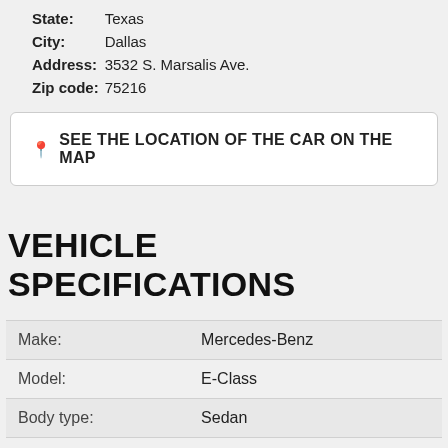State: Texas
City: Dallas
Address: 3532 S. Marsalis Ave.
Zip code: 75216
SEE THE LOCATION OF THE CAR ON THE MAP
VEHICLE SPECIFICATIONS
| Field | Value |
| --- | --- |
| Make: | Mercedes-Benz |
| Model: | E-Class |
| Body type: | Sedan |
| Year: | 2008 |
| Mileage: | 70548 |
| Interior color: | Tan |